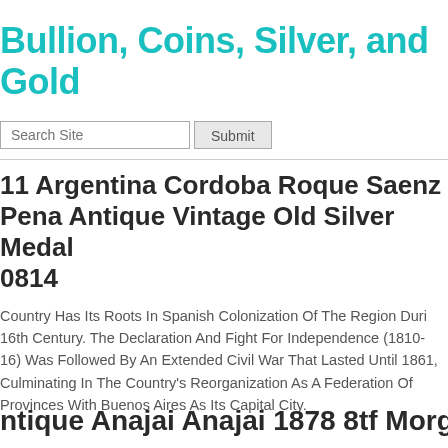Bullion, Coins, Silver, and Gold
[Figure (screenshot): Search bar with 'Search Site' placeholder text and a 'Submit' button]
11 Argentina Cordoba Roque Saenz Pena Antique Vintage Old Silver Medal 0814
Country Has Its Roots In Spanish Colonization Of The Region During The 16th Century. The Declaration And Fight For Independence (1810-1816) Was Followed By An Extended Civil War That Lasted Until 1861, Culminating In The Country's Reorganization As A Federation Of Provinces With Buenos Aires As Its Capital City.
Antique Anajai Anajai 1878 8tf Morgan